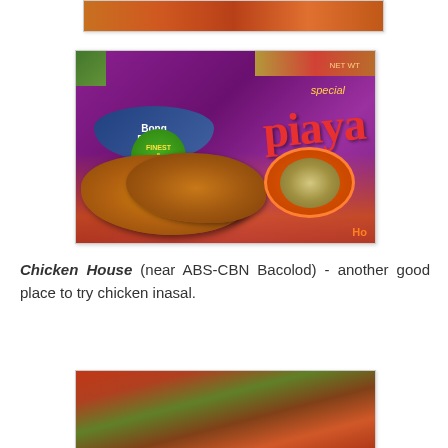[Figure (photo): Partial view of food product packaging at top of page]
[Figure (photo): BongBong's Piaya product packaging - purple bag with 'piaya' text and baked goods visible]
Chicken House (near ABS-CBN Bacolod) - another good place to try chicken inasal.
[Figure (photo): Partial view of food items at bottom of page]